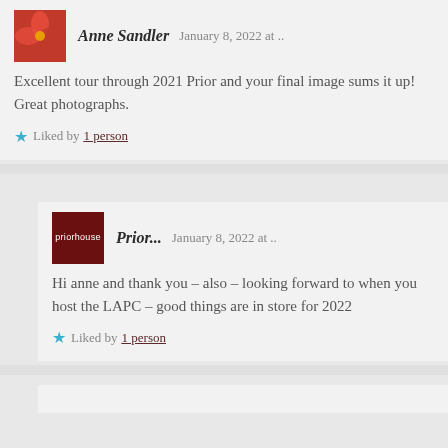Anne Sandler   January 8, 2022 at ..
Excellent tour through 2021 Prior and your final image sums it up! Great photographs.
Liked by 1 person
Prior...   January 8, 2022 at ..
Hi anne and thank you – also – looking forward to when you host the LAPC – good things are in store for 2022
Liked by 1 person